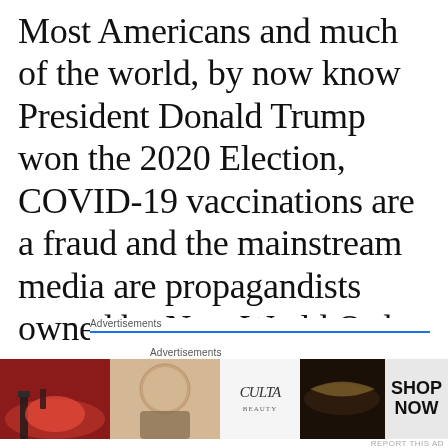Most Americans and much of the world, by now know President Donald Trump won the 2020 Election, COVID-19 vaccinations are a fraud and the mainstream media are propagandists owned by New World Order and World Economic Forum operatives.
Advertisements
[Figure (infographic): Advertisement banner for Pressable - ThePlatform Where WordPress Works Best]
We are not going to take it anymore
Advertisements
[Figure (infographic): ULTA Beauty advertisement banner with makeup imagery and SHOP NOW button]